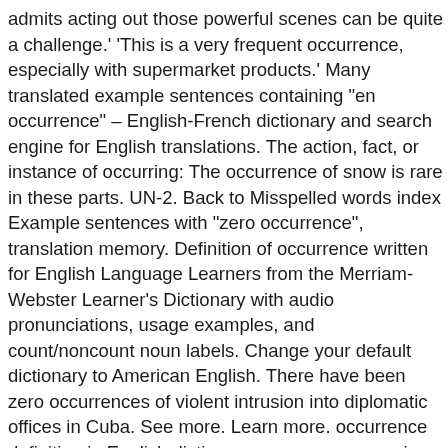admits acting out those powerful scenes can be quite a challenge.' 'This is a very frequent occurrence, especially with supermarket products.' Many translated example sentences containing "en occurrence" – English-French dictionary and search engine for English translations. The action, fact, or instance of occurring: The occurrence of snow is rare in these parts. UN-2. Back to Misspelled words index Example sentences with "zero occurrence", translation memory. Definition of occurrence written for English Language Learners from the Merriam-Webster Learner's Dictionary with audio pronunciations, usage examples, and count/noncount noun labels. Change your default dictionary to American English. There have been zero occurrences of violent intrusion into diplomatic offices in Cuba. See more. Learn more. occurrence definition in English dictionary, occurrence meaning, synonyms, see also 'occurrent',occur',occupancy',occupier'. occurrence Definition: an event that happens. There have been zero occurrences of violent acts. Translate Occurrence. occurrence - WordReference English dictionary, questions